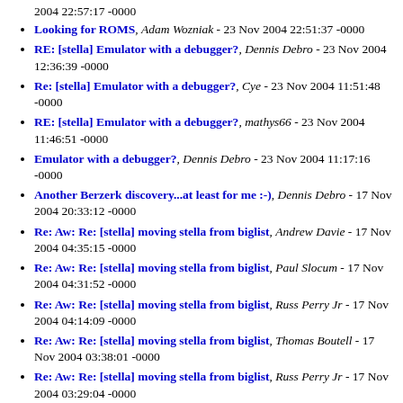2004 22:57:17 -0000
Looking for ROMS, Adam Wozniak - 23 Nov 2004 22:51:37 -0000
RE: [stella] Emulator with a debugger?, Dennis Debro - 23 Nov 2004 12:36:39 -0000
Re: [stella] Emulator with a debugger?, Cye - 23 Nov 2004 11:51:48 -0000
RE: [stella] Emulator with a debugger?, mathys66 - 23 Nov 2004 11:46:51 -0000
Emulator with a debugger?, Dennis Debro - 23 Nov 2004 11:17:16 -0000
Another Berzerk discovery...at least for me :-), Dennis Debro - 17 Nov 2004 20:33:12 -0000
Re: Aw: Re: [stella] moving stella from biglist, Andrew Davie - 17 Nov 2004 04:35:15 -0000
Re: Aw: Re: [stella] moving stella from biglist, Paul Slocum - 17 Nov 2004 04:31:52 -0000
Re: Aw: Re: [stella] moving stella from biglist, Russ Perry Jr - 17 Nov 2004 04:14:09 -0000
Re: Aw: Re: [stella] moving stella from biglist, Thomas Boutell - 17 Nov 2004 03:38:01 -0000
Re: Aw: Re: [stella] moving stella from biglist, Russ Perry Jr - 17 Nov 2004 03:29:04 -0000
Re: ADMIN (was Re: [stella] Reply-to broken), Andrew Davie - 16 Nov 2004 09:06:11 -0000